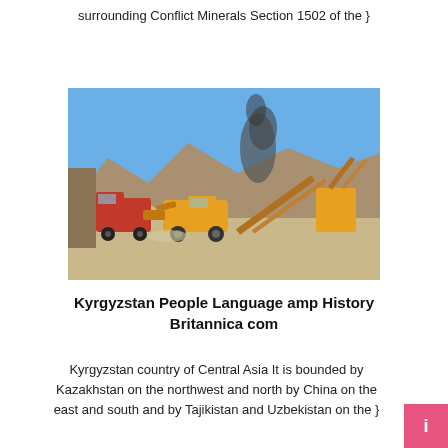surrounding Conflict Minerals Section 1502 of the }
[Figure (photo): Mining site with heavy machinery including a large loader and conveyor equipment, red dump truck visible, mountains and dust/smoke in background under blue sky]
Kyrgyzstan People Language amp History Britannica com
Kyrgyzstan country of Central Asia It is bounded by Kazakhstan on the northwest and north by China on the east and south and by Tajikistan and Uzbekistan on the }